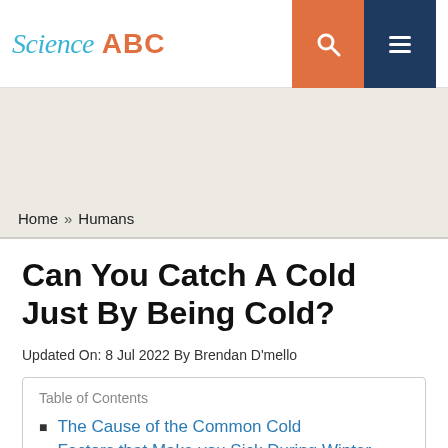Science ABC
Home » Humans
Can You Catch A Cold Just By Being Cold?
Updated On: 8 Jul 2022 By Brendan D'mello
Table of Contents
The Cause of the Common Cold
Factors that Make you Sick During Winter